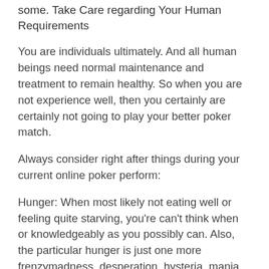some. Take Care regarding Your Human Requirements
You are individuals ultimately. And all human beings need normal maintenance and treatment to remain healthy. So when you are not experience well, then you certainly are certainly not going to play your better poker match.
Always consider right after things during your current online poker perform:
Hunger: When most likely not eating well or feeling quite starving, you're can't think when or knowledgeably as you possibly can. Also, the particular hunger is just one more frenzymadness, desperation, hysteria, mania, insanity, delirium, derangement to prevent from thinking of poker.
Ease and comfort: For all those uncomfortable, most